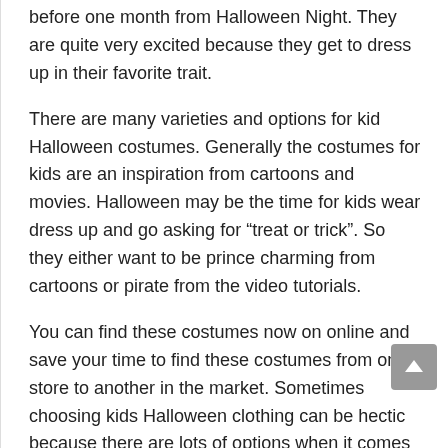before one month from Halloween Night. They are quite very excited because they get to dress up in their favorite trait.
There are many varieties and options for kid Halloween costumes. Generally the costumes for kids are an inspiration from cartoons and movies. Halloween may be the time for kids wear dress up and go asking for “treat or trick”. So they either want to be prince charming from cartoons or pirate from the video tutorials.
You can find these costumes now on online and save your time to find these costumes from one store to another in the market. Sometimes choosing kids Halloween clothing can be hectic because there are lots of options when it comes to kid costumes.
But now even adults look forward for celebrating Halloween by wearing adult Halloween clothing.
Well most of the adults prefer wearing spooky outfits